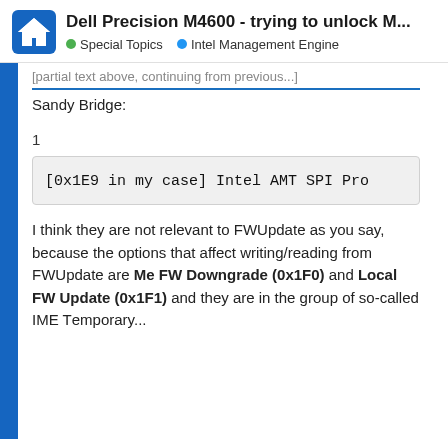Dell Precision M4600 - trying to unlock M... | Special Topics | Intel Management Engine
Sandy Bridge:
1
[0x1E9 in my case] Intel AMT SPI Pro
I think they are not relevant to FWUpdate as you say, because the options that affect writing/reading from FWUpdate are Me FW Downgrade (0x1F0) and Local FW Update (0x1F1) and they are in the group of so-called IME Temporary...